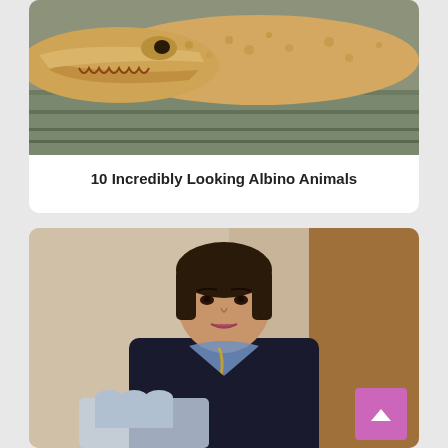[Figure (photo): Close-up photo of an albino alligator or crocodile resting on a surface, showing pale yellowish-white skin and teeth]
10 Incredibly Looking Albino Animals
[Figure (photo): Photo of a female flight attendant in a dark navy uniform with a blue and yellow scarf, posing in what appears to be an aircraft interior. A pink/purple back-to-top button with an upward chevron arrow is overlaid on the image.]